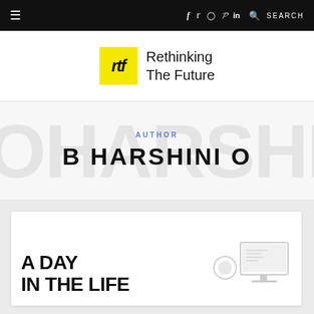≡  f  twitter  instagram  pinterest  in  🔍 SEARCH
[Figure (logo): Rethinking The Future logo: yellow square with 'rtf' text and site name]
AUTHOR
B HARSHINI O
A DAY IN THE LIFE